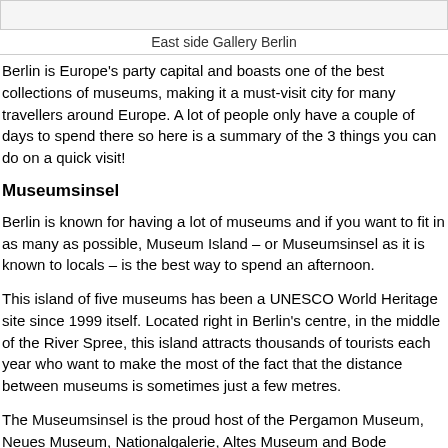[Figure (photo): Top portion of East side Gallery Berlin image, cropped at top of page]
East side Gallery Berlin
Berlin is Europe's party capital and boasts one of the best collections of museums, making it a must-visit city for many travellers around Europe. A lot of people only have a couple of days to spend there so here is a summary of the 3 things you can do on a quick visit!
Museumsinsel
Berlin is known for having a lot of museums and if you want to fit in as many as possible, Museum Island – or Museumsinsel as it is known to locals – is the best way to spend an afternoon.
This island of five museums has been a UNESCO World Heritage site since 1999 itself. Located right in Berlin's centre, in the middle of the River Spree, this island attracts thousands of tourists each year who want to make the most of the fact that the distance between museums is sometimes just a few metres.
The Museumsinsel is the proud host of the Pergamon Museum, Neues Museum, Nationalgalerie, Altes Museum and Bode Museum. Each of these has very different things to offer so you can learn about a bit of everything, from archaeology to sculpture to Renaissance paintings!